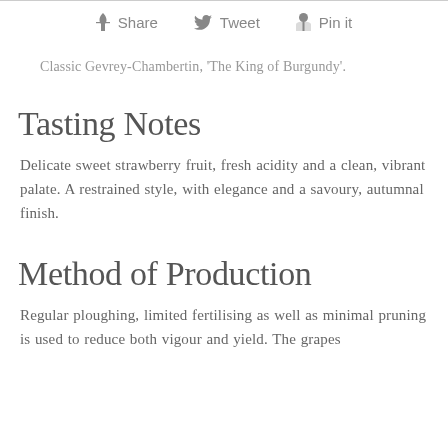Share  Tweet  Pin it
Classic Gevrey-Chambertin, 'The King of Burgundy'.
Tasting Notes
Delicate sweet strawberry fruit, fresh acidity and a clean, vibrant palate. A restrained style, with elegance and a savoury, autumnal finish.
Method of Production
Regular ploughing, limited fertilising as well as minimal pruning is used to reduce both vigour and yield. The grapes